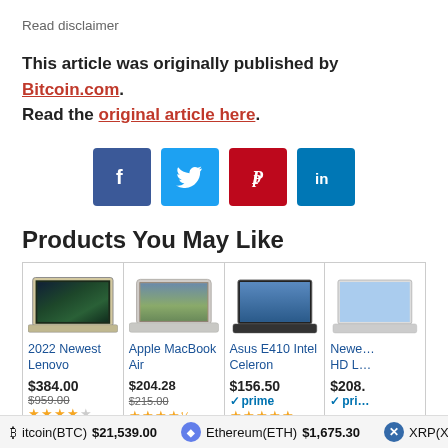Read disclaimer
This article was originally published by Bitcoin.com. Read the original article here.
[Figure (infographic): Four social media share buttons: Facebook (blue), Twitter (light blue), Pinterest (red), LinkedIn (dark blue)]
Products You May Like
[Figure (infographic): Product cards for laptops: 2022 Newest Lenovo $384.00 (was $959.00), Apple MacBook Air $204.28 (was $215.00), Asus E410 Intel Celeron $156.50 with Prime, and a partially visible fourth laptop $208+]
Bitcoin(BTC) $21,539.00   Ethereum(ETH) $1,675.30   XRP(XRP